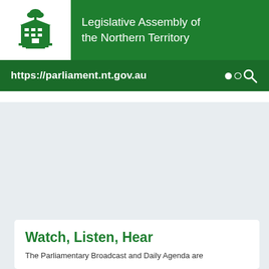[Figure (screenshot): Legislative Assembly of the Northern Territory website header with green background, white logo box containing a building illustration, and text 'Legislative Assembly of the Northern Territory']
https://parliament.nt.gov.au
Watch, Listen, Hear
The Parliamentary Broadcast and Daily Agenda are